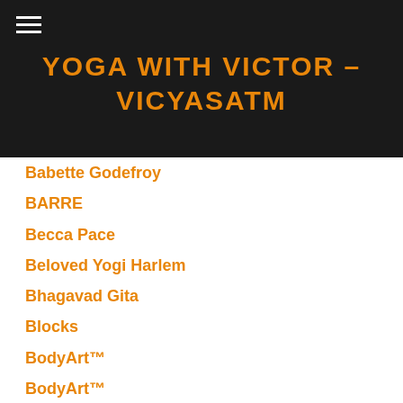YOGA WITH VICTOR – VICYASATM
Babette Godefroy
BARRE
Becca Pace
Beloved Yogi Harlem
Bhagavad Gita
Blocks
BodyArt™
BodyArt™
Brooklyn
Demetra Kentrotas
Dharma Talk
Dina Ivas
DJ Shisaa
Down To Earth Markets
Earth Yoga NYC